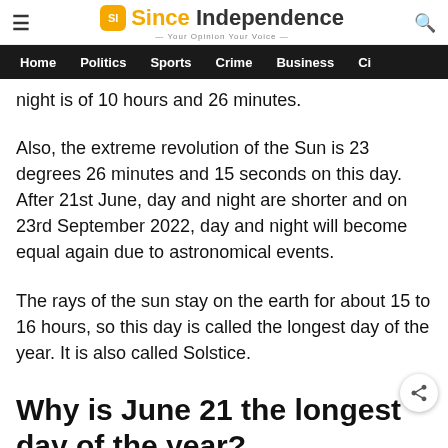Since Independence — Your Opinion Your Voice
Home  Politics  Sports  Crime  Business  Ci
night is of 10 hours and 26 minutes.
Also, the extreme revolution of the Sun is 23 degrees 26 minutes and 15 seconds on this day. After 21st June, day and night are shorter and on 23rd September 2022, day and night will become equal again due to astronomical events.
The rays of the sun stay on the earth for about 15 to 16 hours, so this day is called the longest day of the year. It is also called Solstice.
Why is June 21 the longest day of the year?